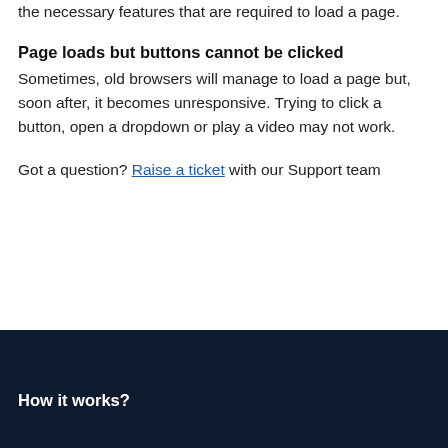the necessary features that are required to load a page.
Page loads but buttons cannot be clicked
Sometimes, old browsers will manage to load a page but, soon after, it becomes unresponsive. Trying to click a button, open a dropdown or play a video may not work.
Got a question? Raise a ticket with our Support team
How it works?